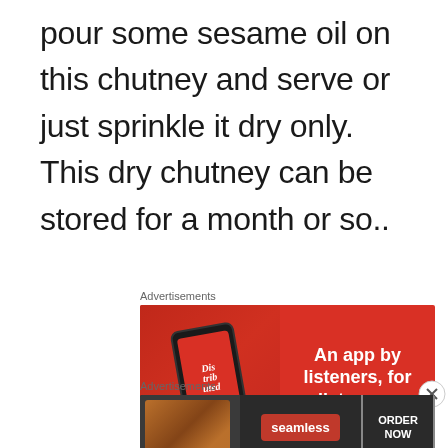pour some sesame oil on this chutney and serve or just sprinkle it dry only. This dry chutney can be stored for a month or so..
[Figure (other): Advertisement banner for 'Distributed' app - red background with phone mockup showing app, text reads 'An app by listeners, for listeners.']
[Figure (other): Advertisement banner for Seamless food delivery - dark background with pizza image, Seamless logo in red, and 'ORDER NOW' button]